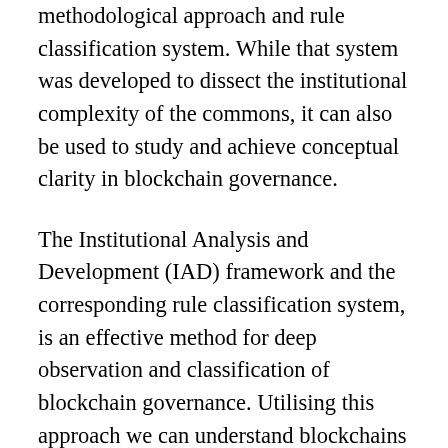methodological approach and rule classification system. While that system was developed to dissect the institutional complexity of the commons, it can also be used to study and achieve conceptual clarity in blockchain governance.
The Institutional Analysis and Development (IAD) framework and the corresponding rule classification system, is an effective method for deep observation and classification of blockchain governance. Utilising this approach we can understand blockchains as a series of different nested and related ‘action arenas’ (e.g. consensus process, a protocol upgrade, a DAO vote) where different actors engage, coordinate and compete under sets of rules